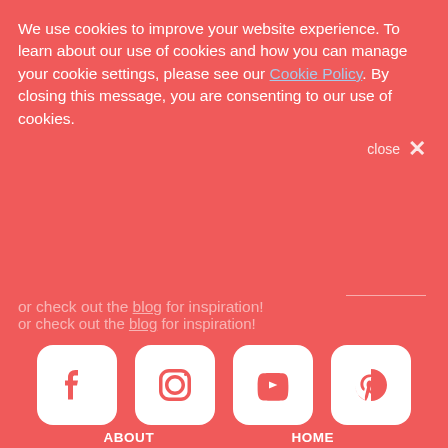We use cookies to improve your website experience. To learn about our use of cookies and how you can manage your cookie settings, please see our Cookie Policy. By closing this message, you are consenting to our use of cookies.
or check out the blog for inspiration!
[Figure (illustration): Social media icons: Facebook, Instagram, YouTube, Pinterest — white rounded square icons on coral/red background]
ABOUT
ANGEL POLICY
BASKET
CHECKOUT
CONTACT US
HOME
MEDIA
MY ACCOUNT
NEWSLETTER
PRIVACY POLICY